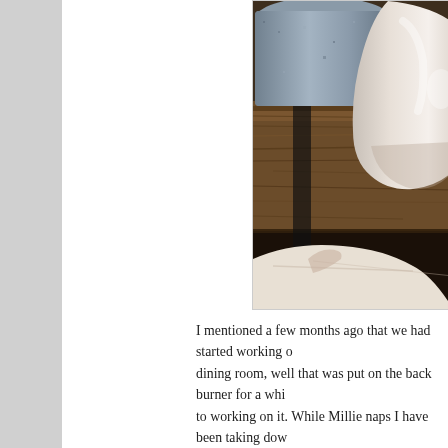[Figure (photo): A rustic wooden table surface with a white ceramic pitcher and a galvanized metal bucket/container in the background. In the foreground, a white cloth or napkin is visible. The scene has a farmhouse/country decor aesthetic.]
I mentioned a few months ago that we had started working on our dining room, well that was put on the back burner for a while but I am back to working on it. While Millie naps I have been taking down walls and doing demo work! As far as I am concerned there is nothing better. I will keep you updated on our progress, hopefully this weekend we will ge